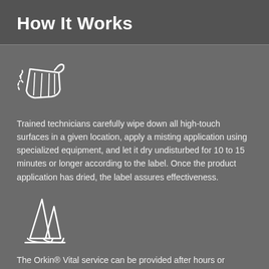How It Works
[Figure (illustration): Icon of hands wiping/cleaning a surface with motion lines indicating wiping action]
Trained technicians carefully wipe down all high-touch surfaces in a given location, apply a misting application using specialized equipment, and let it dry undisturbed for 10 to 15 minutes or longer according to the label. Once the product application has dried, the label assures effectiveness.
[Figure (illustration): Icon of two traffic/safety cones]
The Orkin® Vital service can be provided after hours or